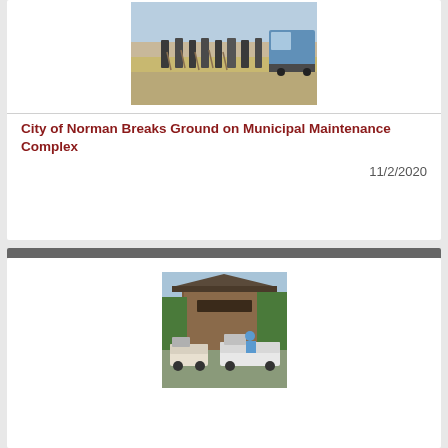[Figure (photo): Group of people at a groundbreaking ceremony outdoors, holding shovels, with a vehicle in the background.]
City of Norman Breaks Ground on Municipal Maintenance Complex
11/2/2020
[Figure (photo): People riding golf carts in front of a wooden pavilion building surrounded by trees.]